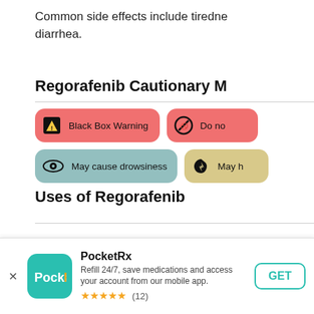Common side effects include tiredness, diarrhea.
Regorafenib Cautionary M
[Figure (infographic): Warning pills: Black Box Warning (red), Do not (red, partial), May cause drowsiness (blue-green), May h (tan, partial)]
Uses of Regorafenib
Regorafenib is a prescription medicin
[Figure (infographic): PocketRx app banner with icon, name, description, star rating (12 reviews), and GET button]